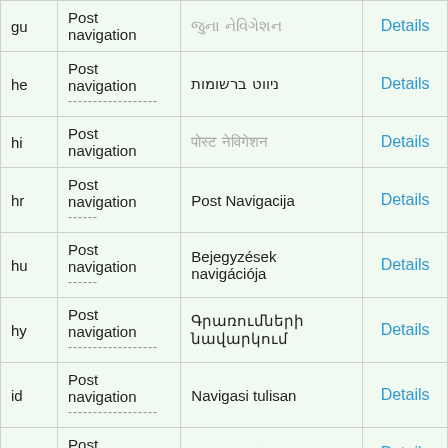|  | Post navigation | Translation |  |
| --- | --- | --- | --- |
| gu | Post navigation | (grayed text) | Details |
| he | Post navigation
------------------ | ניווט ברשומות | Details |
| hi | Post navigation | (grayed text) | Details |
| hr | Post navigation
------ | Post Navigacija | Details |
| hu | Post navigation
------ | Bejegyzések navigációja | Details |
| hy | Post navigation
------------------ | Գրառումների նավարկում | Details |
| id | Post navigation
------------------ | Navigasi tulisan | Details |
| is | Post navigation | Færslu leiðarstýring | Details |
| it | Post navigation
------------------ | Navigazione articolo | Details |
| ja | Post navigation
------------------ | (grayed text) | Details |
|  |  | პოსტის |  |